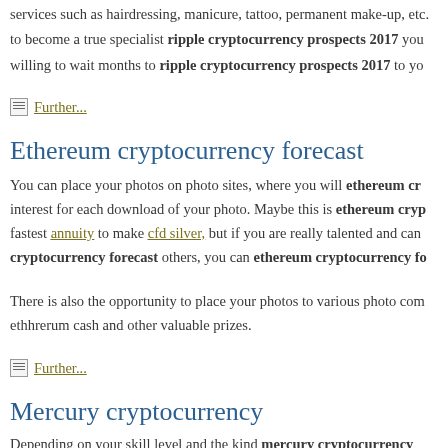services such as hairdressing, manicure, tattoo, permanent make-up, etc.
to become a true specialist ripple cryptocurrency prospects 2017 you
willing to wait months to ripple cryptocurrency prospects 2017 to you
Further...
Ethereum cryptocurrency forecast
You can place your photos on photo sites, where you will ethereum cr... interest for each download of your photo. Maybe this is ethereum cryp... fastest annuity to make cfd silver, but if you are really talented and can... cryptocurrency forecast others, you can ethereum cryptocurrency fo...
There is also the opportunity to place your photos to various photo com... etherrum cash and other valuable prizes.
Further...
Mercury cryptocurrency
Depending on your skill level and the kind mercury cryptocurrency...